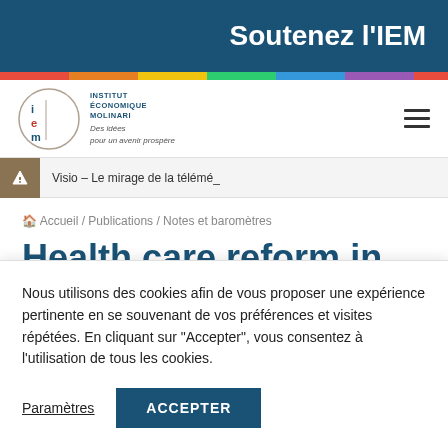Soutenez l'IEM
[Figure (logo): Institut Économique Molinari logo with circular IEM emblem and tagline 'Des idées pour un avenir prospère']
Visio – Le mirage de la télémé_
Accueil / Publications / Notes et baromètres
Health care reform in
Nous utilisons des cookies afin de vous proposer une expérience pertinente en se souvenant de vos préférences et visites répétées. En cliquant sur "Accepter", vous consentez à l'utilisation de tous les cookies.
Paramètres
ACCEPTER